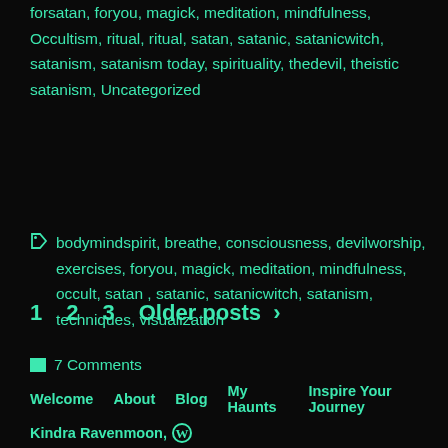forsatan, foryou, magick, meditation, mindfulness, Occultism, ritual, ritual, satan, satanic, satanicwitch, satanism, satanism today, spirituality, thedevil, theistic satanism, Uncategorized
bodymindspirit, breathe, consciousness, devilworship, exercises, foryou, magick, meditation, mindfulness, occult, satan , satanic, satanicwitch, satanism, techniques, visualization
7 Comments
1  2  3  Older posts  >
Welcome   About   Blog   My Haunts   Inspire Your Journey
Kindra Ravenmoon, W